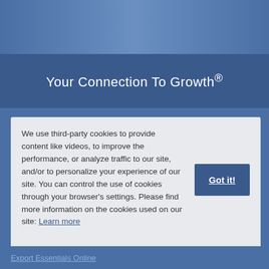[Figure (photo): Top banner image strip with blue/teal gradient colors]
Your Connection To Growth®
We use third-party cookies to provide content like videos, to improve the performance, or analyze traffic to our site, and/or to personalize your experience of our site. You can control the use of cookies through your browser's settings. Please find more information on the cookies used on our site: Learn more
Got it!
Export Essentials Online